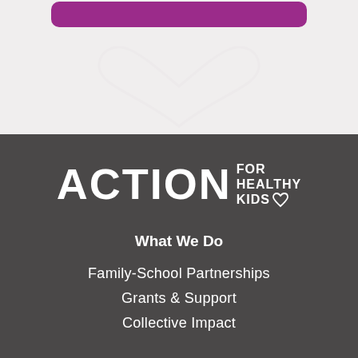[Figure (logo): Purple rounded rectangle bar at the top of a light gray background section]
[Figure (logo): Action for Healthy Kids logo in white on dark gray background, with heart icon]
What We Do
Family-School Partnerships
Grants & Support
Collective Impact